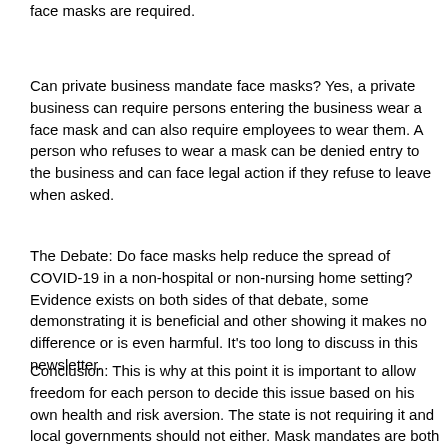face masks are required.
Can private business mandate face masks? Yes, a private business can require persons entering the business wear a face mask and can also require employees to wear them. A person who refuses to wear a mask can be denied entry to the business and can face legal action if they refuse to leave when asked.
The Debate: Do face masks help reduce the spread of COVID-19 in a non-hospital or non-nursing home setting? Evidence exists on both sides of that debate, some demonstrating it is beneficial and other showing it makes no difference or is even harmful. It's too long to discuss in this newsletter.
Conclusion: This is why at this point it is important to allow freedom for each person to decide this issue based on his own health and risk aversion. The state is not requiring it and local governments should not either. Mask mandates are both illegal (according to the Attorney General) and unenforceable. An unenforceable mandate like this breeds disrespect for the law. We seem to have some cities in Iowa with a positive case of “totalitarian fever”, anxious to regulate more of the lives of their citizens. This is the wrong direction. It breeds fear and distrust between people. It is